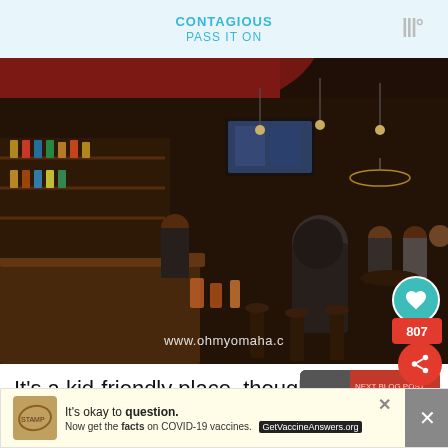[Figure (illustration): Top banner advertisement with text 'CONTAGIOUS PASS IT ON' in teal/blue color on light blue background, with logo in top right corner.]
[Figure (photo): Interior photo of a bar/restaurant with red ceiling trim, dark ambiance, patrons sitting at bar and tables, liquor bottles on shelves, TV screens, pendant lights, and a watermark reading 'www.ohmyomaha.c' visible at the bottom. Social interaction badges (heart, count 807, share) overlaid on right side.]
It's a kid-friendly place, though, with [a kids'] menu and everything. I recommend getting th[e...] [a]re
[Figure (illustration): Side recommendation card showing '34 Midwest Restaurants...' with a small thumbnail image of a train/restaurant on red background.]
[Figure (illustration): Bottom banner advertisement: 'It's okay to question. Now get the facts on COVID-19 vaccines. GetVaccineAnswers.org' with a close (X) button and logo.]